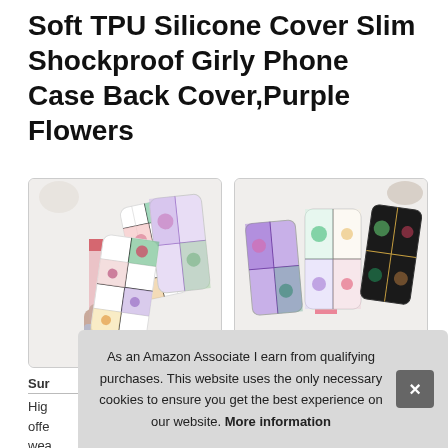Soft TPU Silicone Cover Slim Shockproof Girly Phone Case Back Cover,Purple Flowers
[Figure (photo): Two phone cases with geometric floral patterns displayed on a white marble surface; a hand holding one case on the left]
[Figure (photo): Three phone cases with geometric floral patterns displayed on a white marble surface with magazine and coffee mug in background]
Sura
High offer wea
As an Amazon Associate I earn from qualifying purchases. This website uses the only necessary cookies to ensure you get the best experience on our website. More information